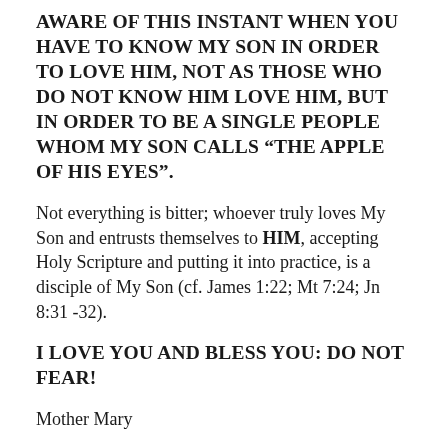AWARE OF THIS INSTANT WHEN YOU HAVE TO KNOW MY SON IN ORDER TO LOVE HIM, NOT AS THOSE WHO DO NOT KNOW HIM LOVE HIM, BUT IN ORDER TO BE A SINGLE PEOPLE WHOM MY SON CALLS “THE APPLE OF HIS EYES”.
Not everything is bitter; whoever truly loves My Son and entrusts themselves to HIM, accepting Holy Scripture and putting it into practice, is a disciple of My Son (cf. James 1:22; Mt 7:24; Jn 8:31 -32).
I LOVE YOU AND BLESS YOU: DO NOT FEAR!
Mother Mary
HAIL MARY MOST PURE, CONCEIVED